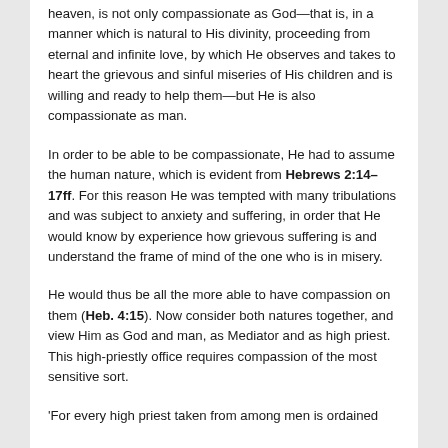heaven, is not only compassionate as God—that is, in a manner which is natural to His divinity, proceeding from eternal and infinite love, by which He observes and takes to heart the grievous and sinful miseries of His children and is willing and ready to help them—but He is also compassionate as man.
In order to be able to be compassionate, He had to assume the human nature, which is evident from Hebrews 2:14–17ff. For this reason He was tempted with many tribulations and was subject to anxiety and suffering, in order that He would know by experience how grievous suffering is and understand the frame of mind of the one who is in misery.
He would thus be all the more able to have compassion on them (Heb. 4:15). Now consider both natures together, and view Him as God and man, as Mediator and as high priest. This high-priestly office requires compassion of the most sensitive sort.
'For every high priest taken from among men is ordained